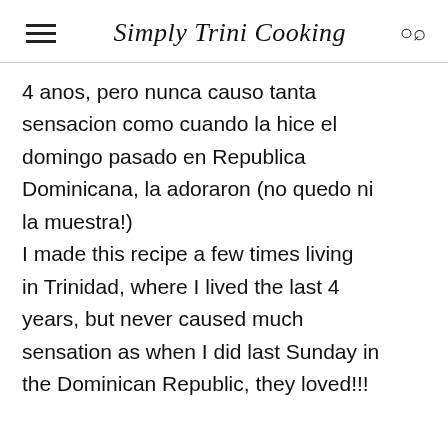Simply Trini Cooking
4 anos, pero nunca causo tanta sensacion como cuando la hice el domingo pasado en Republica Dominicana, la adoraron (no quedo ni la muestra!)
I made this recipe a few times living in Trinidad, where I lived the last 4 years, but never caused much sensation as when I did last Sunday in the Dominican Republic, they loved!!!